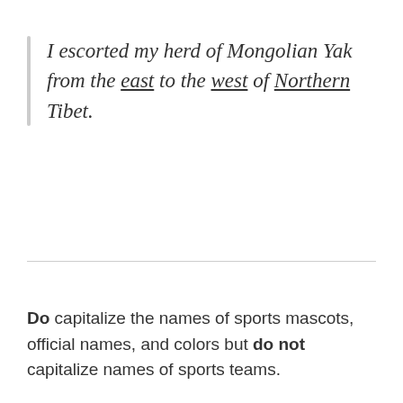I escorted my herd of Mongolian Yak from the east to the west of Northern Tibet.
Do capitalize the names of sports mascots, official names, and colors but do not capitalize names of sports teams.